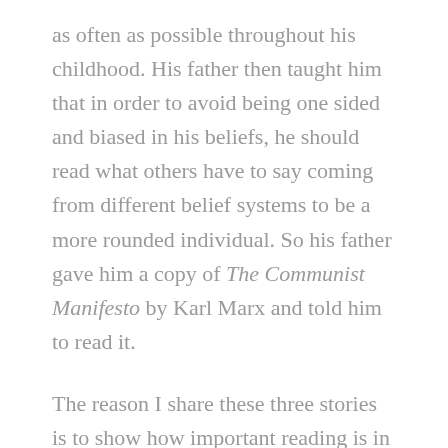as often as possible throughout his childhood. His father then taught him that in order to avoid being one sided and biased in his beliefs, he should read what others have to say coming from different belief systems to be a more rounded individual. So his father gave him a copy of The Communist Manifesto by Karl Marx and told him to read it.
The reason I share these three stories is to show how important reading is in the life of anyone willing to learn. Why it's so crucial to learn by listening and reading what others have to say on a matter, whatever that matter